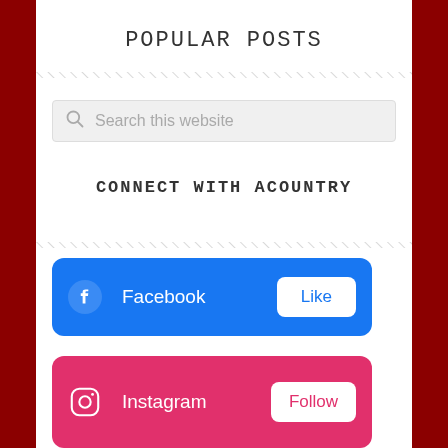POPULAR POSTS
[Figure (other): Diagonal hatching divider line below Popular Posts heading]
[Figure (screenshot): Search box with magnifying glass icon and placeholder text 'Search this website']
CONNECT WITH ACOUNTRY
[Figure (other): Diagonal hatching divider line below Connect With ACountry heading]
[Figure (other): Facebook social card: blue background, Facebook icon, Facebook label, and Like button]
[Figure (other): Instagram social card: pink/red background, Instagram icon, Instagram label, and Follow button]